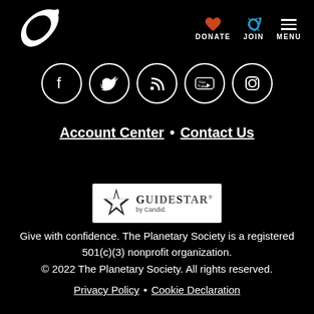Planetary Society logo, DONATE, JOIN, MENU
[Figure (logo): Planetary Society logo - white stylized rocket/arrow on black background]
[Figure (infographic): Social media icons in white circles: Facebook, Twitter, RSS, YouTube, Instagram]
Account Center • Contact Us
[Figure (logo): GuideStar by Candid logo]
Give with confidence. The Planetary Society is a registered 501(c)(3) nonprofit organization.
© 2022 The Planetary Society. All rights reserved.
Privacy Policy • Cookie Declaration